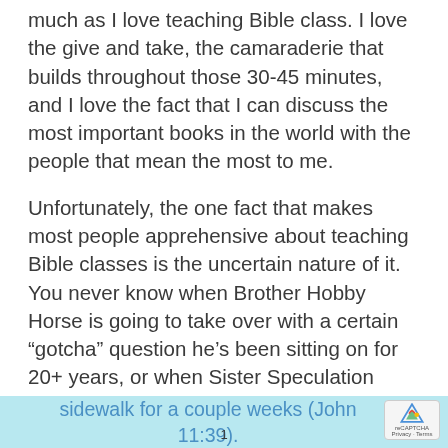much as I love teaching Bible class. I love the give and take, the camaraderie that builds throughout those 30-45 minutes, and I love the fact that I can discuss the most important books in the world with the people that mean the most to me.
Unfortunately, the one fact that makes most people apprehensive about teaching Bible classes is the uncertain nature of it. You never know when Brother Hobby Horse is going to take over with a certain “gotcha” question he’s been sitting on for 20+ years, or when Sister Speculation asks you whether or not pre-resurrection Lazarus stunk like old sushi or salami that’s been left outside on the sidewalk for a couple weeks (John 11:39).
sidewalk for a couple weeks (John 11:39).
1